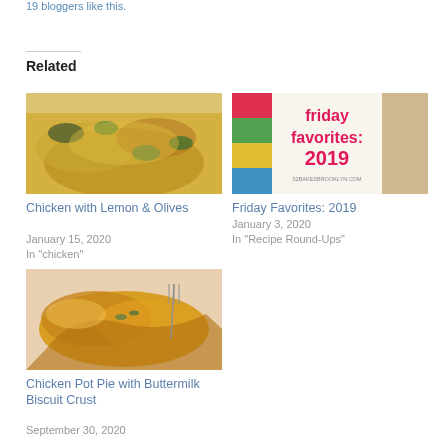19 bloggers like this.
Related
[Figure (photo): Chicken dish with yellow sauce and green olives in a white bowl]
Chicken with Lemon & Olives
January 15, 2020
In "chicken"
[Figure (photo): Friday Favorites: 2019 graphic with pink text on colorful background, 52bakesbrooklyn.com]
Friday Favorites: 2019
January 3, 2020
In "Recipe Round-Ups"
[Figure (photo): Chicken Pot Pie with golden pastry crust and a fork on a white plate]
Chicken Pot Pie with Buttermilk Biscuit Crust
September 30, 2020